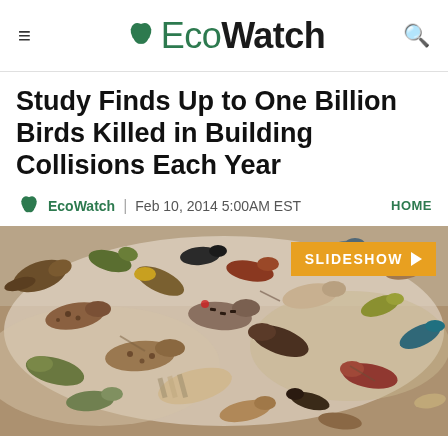EcoWatch
Study Finds Up to One Billion Birds Killed in Building Collisions Each Year
EcoWatch | Feb 10, 2014 5:00AM EST
HOME
[Figure (photo): A large collection of dead birds laid out on a white surface, showing many different species including woodpeckers and various songbirds, photograph taken from above.]